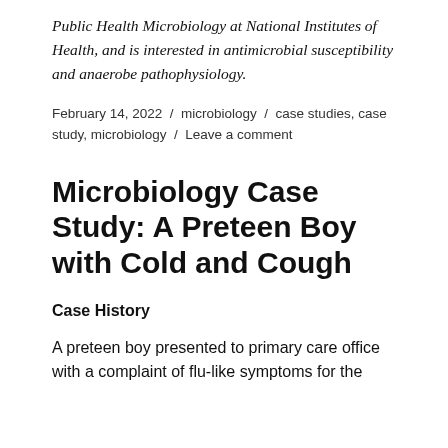Public Health Microbiology at National Institutes of Health, and is interested in antimicrobial susceptibility and anaerobe pathophysiology.
February 14, 2022 / microbiology / case studies, case study, microbiology / Leave a comment
Microbiology Case Study: A Preteen Boy with Cold and Cough
Case History
A preteen boy presented to primary care office with a complaint of flu-like symptoms for the